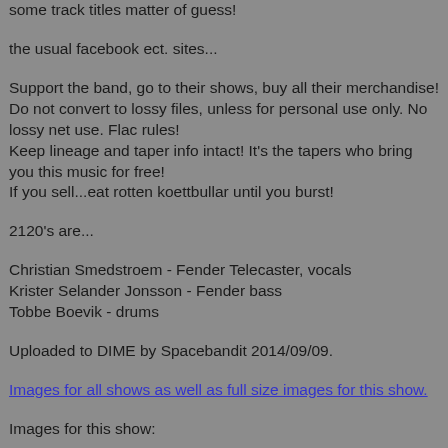some track titles matter of guess!
the usual facebook ect. sites...
Support the band, go to their shows, buy all their merchandise!
Do not convert to lossy files, unless for personal use only. No lossy net use. Flac rules!
Keep lineage and taper info intact! It's the tapers who bring you this music for free!
If you sell...eat rotten koettbullar until you burst!
2120's are...
Christian Smedstroem - Fender Telecaster, vocals
Krister Selander Jonsson - Fender bass
Tobbe Boevik - drums
Uploaded to DIME by Spacebandit 2014/09/09.
Images for all shows as well as full size images for this show.
Images for this show: